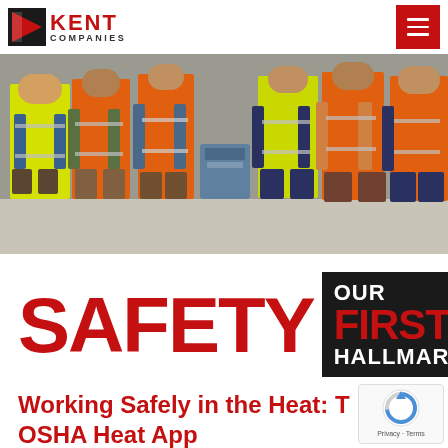Kent Companies — Navigation header with logo and hamburger menu
[Figure (photo): Group of construction workers wearing orange and yellow high-visibility safety vests, standing in an indoor construction site, some holding water bottles and drinks]
[Figure (infographic): Safety banner reading 'SAFETY OUR FIRST HALLMARK' with large red SAFETY text on white background and OUR / FIRST / HALLMARK text on black background, FIRST in red]
Working Safely in the Heat: The OSHA Heat App